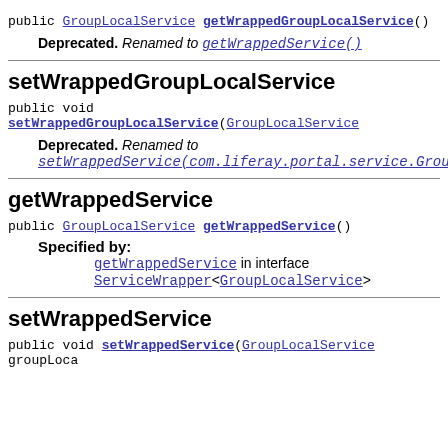public GroupLocalService getWrappedGroupLocalService()
Deprecated. Renamed to getWrappedService()
setWrappedGroupLocalService
public void setWrappedGroupLocalService(GroupLocalService
Deprecated. Renamed to setWrappedService(com.liferay.portal.service.GroupLo
getWrappedService
public GroupLocalService getWrappedService()
Specified by: getWrappedService in interface ServiceWrapper<GroupLocalService>
setWrappedService
public void setWrappedService(GroupLocalService groupLoca